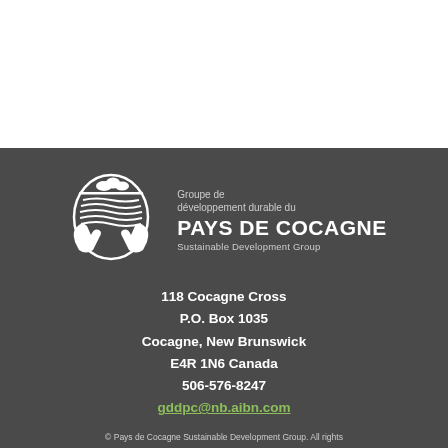[Figure (logo): Pays de Cocagne Sustainable Development Group logo — white circular emblem showing hands holding a landscape with trees and flowing land, with French and English organization name text]
118 Cocagne Cross
P.O. Box 1035
Cocagne, New Brunswick
E4R 1N6 Canada
506-576-8247
gddpc@nb.aibn.com
© Pays de Cocagne Sustainable Development Group. All rights